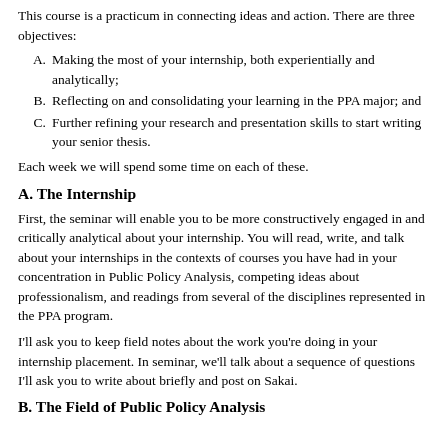This course is a practicum in connecting ideas and action. There are three objectives:
A. Making the most of your internship, both experientially and analytically;
B. Reflecting on and consolidating your learning in the PPA major; and
C. Further refining your research and presentation skills to start writing your senior thesis.
Each week we will spend some time on each of these.
A. The Internship
First, the seminar will enable you to be more constructively engaged in and critically analytical about your internship. You will read, write, and talk about your internships in the contexts of courses you have had in your concentration in Public Policy Analysis, competing ideas about professionalism, and readings from several of the disciplines represented in the PPA program.
I'll ask you to keep field notes about the work you're doing in your internship placement. In seminar, we'll talk about a sequence of questions I'll ask you to write about briefly and post on Sakai.
B. The Field of Public Policy Analysis